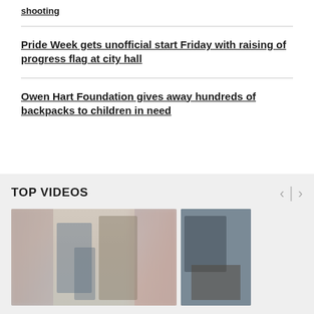shooting
Pride Week gets unofficial start Friday with raising of progress flag at city hall
Owen Hart Foundation gives away hundreds of backpacks to children in need
TOP VIDEOS
[Figure (photo): Video thumbnail showing people standing in an indoor setting]
[Figure (photo): Video thumbnail showing a person working with their hands on a surface]